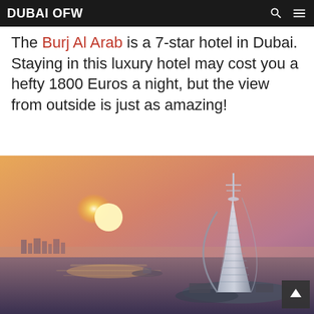DUBAI OFW
The Burj Al Arab is a 7-star hotel in Dubai. Staying in this luxury hotel may cost you a hefty 1800 Euros a night, but the view from outside is just as amazing!
[Figure (photo): Aerial photograph of the Burj Al Arab hotel in Dubai at sunset, showing the iconic sail-shaped tower rising above the sea, with warm orange and pink sky, water reflections, and city skyline in the background.]